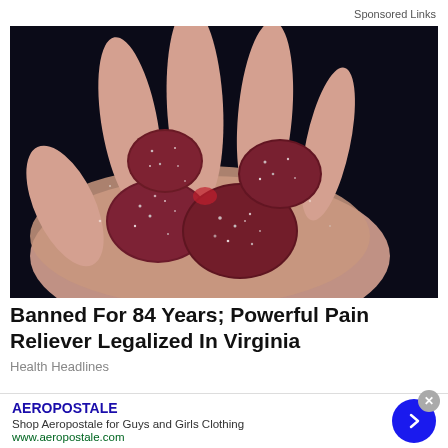Sponsored Links
[Figure (photo): A hand holding several dark red/maroon sugar-coated gummy candies against a dark background]
Banned For 84 Years; Powerful Pain Reliever Legalized In Virginia
Health Headlines
AEROPOSTALE
Shop Aeropostale for Guys and Girls Clothing
www.aeropostale.com